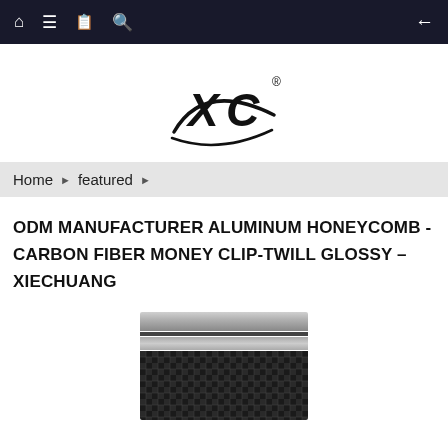Navigation bar with home, menu, document, search icons and back arrow
[Figure (logo): XC brand logo — stylized X and C letters with swoosh and registered trademark symbol]
Home ▶ featured ▶
ODM MANUFACTURER ALUMINUM HONEYCOMB - CARBON FIBER MONEY CLIP-TWILL GLOSSY – XIECHUANG
[Figure (photo): Carbon fiber money clip with twill glossy finish showing dark carbon fiber weave pattern with metallic clip bar at top]